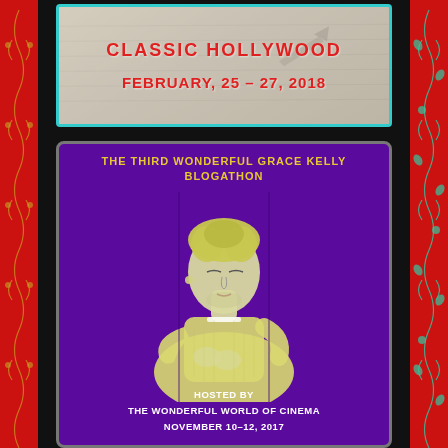[Figure (illustration): Top banner with cyan/teal border, light background with handwriting/script texture, red bold text reading 'CLASSIC HOLLYWOOD' and 'FEBRUARY, 25 – 27, 2018']
[Figure (illustration): Purple background blogathon banner featuring a yellow-tinted woman (Grace Kelly) looking downward, wearing white lace dress with earring and choker. Yellow text at top reads 'THE THIRD WONDERFUL GRACE KELLY BLOGATHON'. White text at bottom reads 'HOSTED BY THE WONDERFUL WORLD OF CINEMA NOVEMBER 10–12, 2017']